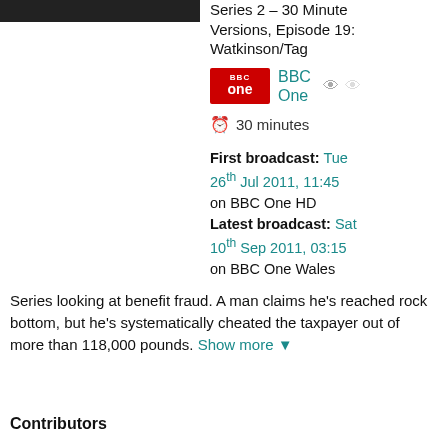[Figure (photo): Dark TV show thumbnail image at top left]
Series 2 - 30 Minute Versions, Episode 19: Watkinson/Tag
BBC One
30 minutes
First broadcast: Tue 26th Jul 2011, 11:45 on BBC One HD
Latest broadcast: Sat 10th Sep 2011, 03:15 on BBC One Wales
Series looking at benefit fraud. A man claims he's reached rock bottom, but he's systematically cheated the taxpayer out of more than 118,000 pounds. Show more
Contributors